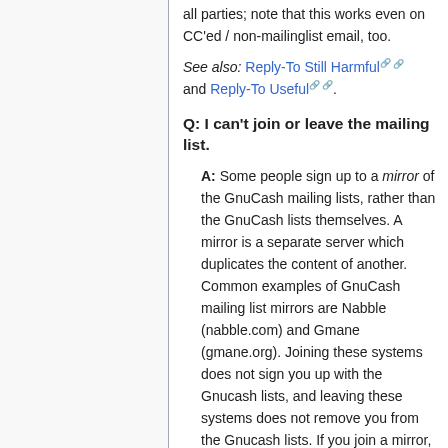all parties; note that this works even on CC'ed / non-mailinglist email, too.
See also: Reply-To Still Harmful and Reply-To Useful.
Q: I can't join or leave the mailing list.
A: Some people sign up to a mirror of the GnuCash mailing lists, rather than the GnuCash lists themselves. A mirror is a separate server which duplicates the content of another. Common examples of GnuCash mailing list mirrors are Nabble (nabble.com) and Gmane (gmane.org). Joining these systems does not sign you up with the Gnucash lists, and leaving these systems does not remove you from the Gnucash lists. If you join a mirror, but not GnuCash, your posts will go